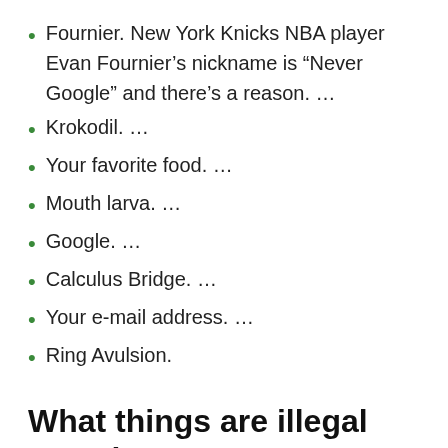Fournier. New York Knicks NBA player Evan Fournier’s nickname is “Never Google” and there’s a reason. …
Krokodil. …
Your favorite food. …
Mouth larva. …
Google. …
Calculus Bridge. …
Your e-mail address. …
Ring Avulsion.
What things are illegal Google?